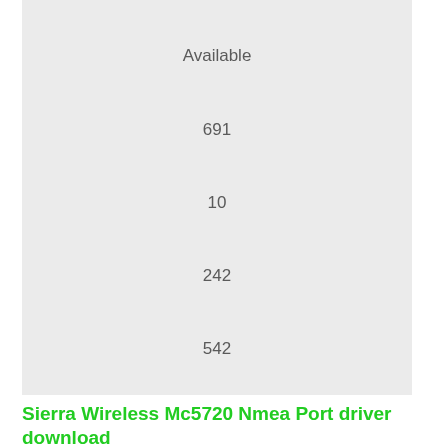Available
691
10
242
542
Sierra Wireless Mc5720 Nmea Port driver download